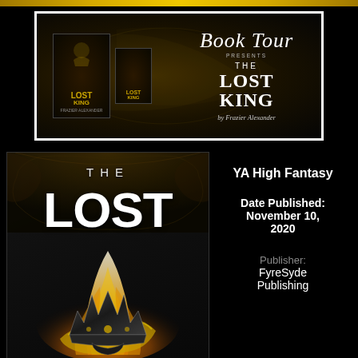[Figure (illustration): Gold decorative banner strip at top of page]
[Figure (illustration): Book Tour banner for The Lost King by Frazier Alexander, showing book covers on tablets/e-readers with swirling golden background, white border, RBT Book Tours and PR label on left side. Text reads: Book Tour presents THE LOST KING by Frazier Alexander]
[Figure (illustration): Book cover of The Lost King showing golden crown with fire/flames against dark background, ornate decorative frame at top, title text THE LOST in large white letters]
YA High Fantasy
Date Published: November 10, 2020
Publisher: FyreSyde Publishing